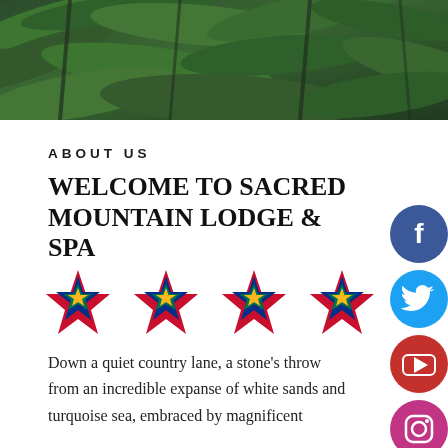[Figure (photo): Hero photo of tropical green leaves and foliage at top of page]
ABOUT US
WELCOME TO SACRED MOUNTAIN LODGE & SPA
[Figure (illustration): Four South African flag-colored stars in a row as a rating]
Down a quiet country lane, a stone's throw from an incredible expanse of white sands and turquoise sea, embraced by magnificent
[Figure (illustration): Social media icons on right side: Facebook, Twitter, YouTube, Instagram, and one more partially visible]